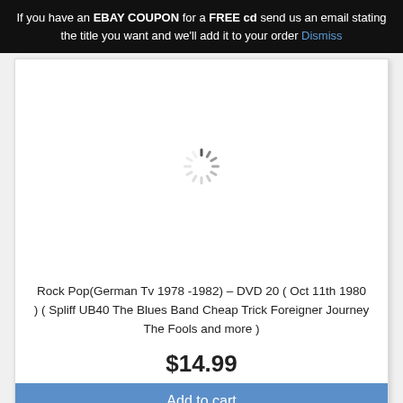If you have an EBAY COUPON for a FREE cd send us an email stating the title you want and we'll add it to your order Dismiss
[Figure (screenshot): White product image area with a loading spinner (circular dashed ring) centered in the box]
Rock Pop(German Tv 1978 -1982) – DVD 20 ( Oct 11th 1980 ) ( Spliff UB40 The Blues Band Cheap Trick Foreigner Journey The Fools and more )
$14.99
Add to cart